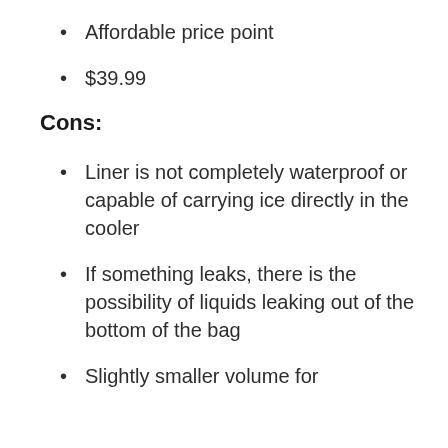Affordable price point
$39.99
Cons:
Liner is not completely waterproof or capable of carrying ice directly in the cooler
If something leaks, there is the possibility of liquids leaking out of the bottom of the bag
Slightly smaller volume for